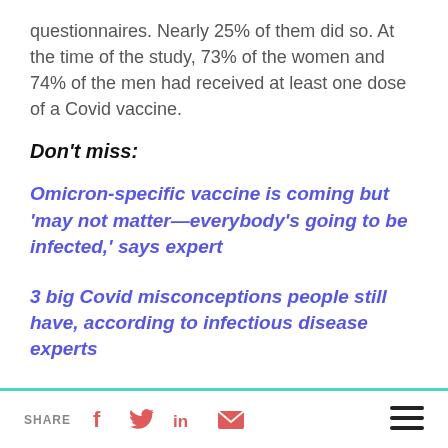questionnaires. Nearly 25% of them did so. At the time of the study, 73% of the women and 74% of the men had received at least one dose of a Covid vaccine.
Don't miss:
Omicron-specific vaccine is coming but 'may not matter—everybody's going to be infected,' says expert
3 big Covid misconceptions people still have, according to infectious disease experts
Why Covid vaccine booster shots are so
SHARE